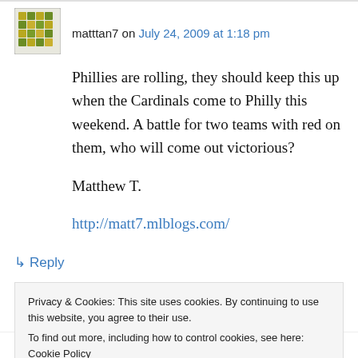[Figure (illustration): User avatar icon: decorative geometric/floral pattern in green/yellow mosaic style]
matttan7 on July 24, 2009 at 1:18 pm
Phillies are rolling, they should keep this up when the Cardinals come to Philly this weekend. A battle for two teams with red on them, who will come out victorious?

Matthew T.

http://matt7.mlblogs.com/
↵ Reply
Privacy & Cookies: This site uses cookies. By continuing to use this website, you agree to their use.
To find out more, including how to control cookies, see here: Cookie Policy
Close and accept
Jane Heller on July 24, 2009 at 2:16 pm